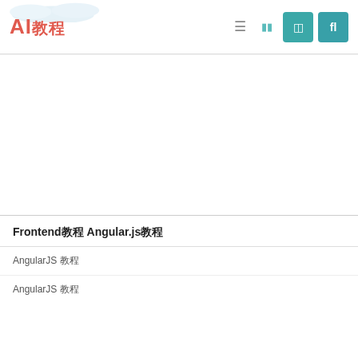AI教程
AngularJS 教程
[Figure (illustration): Row of colored icon buttons: red, green, pink, dark-red, orange]
Frontend教程Angular.js教程
AngularJS 教程
AngularJS 教程